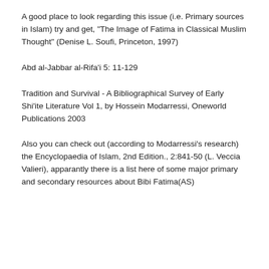A good place to look regarding this issue (i.e. Primary sources in Islam) try and get, "The Image of Fatima in Classical Muslim Thought" (Denise L. Soufi, Princeton, 1997)
Abd al-Jabbar al-Rifa'i 5: 11-129
Tradition and Survival - A Bibliographical Survey of Early Shi'ite Literature Vol 1, by Hossein Modarressi, Oneworld Publications 2003
Also you can check out (according to Modarressi's research) the Encyclopaedia of Islam, 2nd Edition., 2:841-50 (L. Veccia Valieri), apparantly there is a list here of some major primary and secondary resources about Bibi Fatima(AS)